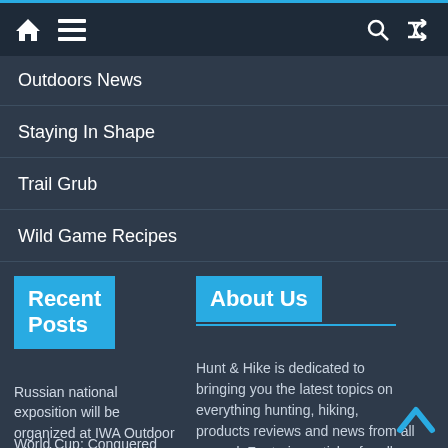Navigation bar with home, menu, search, and shuffle icons
Outdoors News
Staying In Shape
Trail Grub
Wild Game Recipes
Recent Posts
Russian national exposition will be organized at IWA Outdoor Classics 2022
World Cup: Conquered
About Us
Hunt & Hike is dedicated to bringing you the latest topics on everything hunting, hiking, products reviews and news from all around. Featuring articles for all...